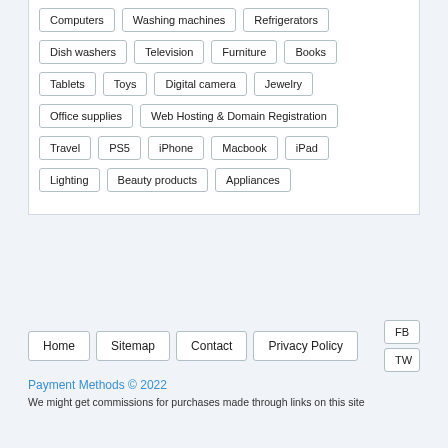Computers
Washing machines
Refrigerators
Dish washers
Television
Furniture
Books
Tablets
Toys
Digital camera
Jewelry
Office supplies
Web Hosting & Domain Registration
Travel
PS5
iPhone
Macbook
iPad
Lighting
Beauty products
Appliances
Home  Sitemap  Contact  Privacy Policy  FB  TW
Payment Methods © 2022
We might get commissions for purchases made through links on this site